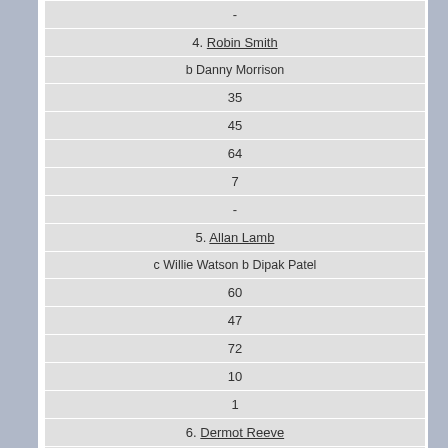| - |
| 4. Robin Smith |
| b Danny Morrison |
| 35 |
| 45 |
| 64 |
| 7 |
| - |
| 5. Allan Lamb |
| c Willie Watson b Dipak Patel |
| 60 |
| 47 |
| 72 |
| 10 |
| 1 |
| 6. Dermot Reeve |
| lbw b Willie Watson |
| 25 |
| 112 |